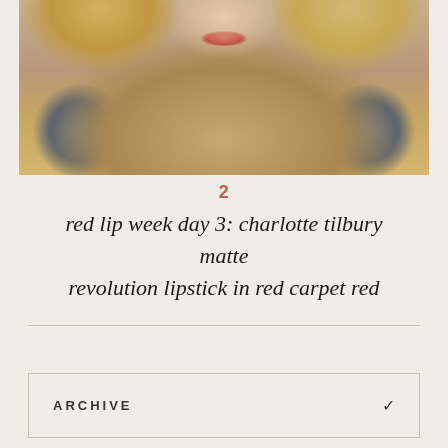[Figure (photo): Close-up photo of a blonde woman with bright red lips wearing a camel/tan scarf and blue sweater]
2
red lip week day 3: charlotte tilbury matte revolution lipstick in red carpet red
ARCHIVE